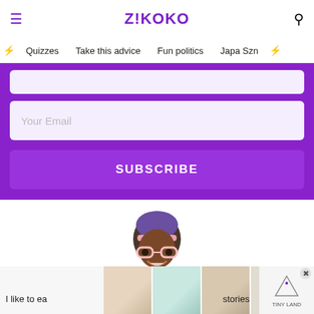Z!KOKO
Quizzes   Take this advice   Fun politics   Japa Szn
[Figure (screenshot): Email subscription form with 'Your Email' input field and purple SUBSCRIBE button on a purple background]
[Figure (illustration): Illustrated avatar of a dark-skinned woman with purple hair, pink glasses, and a warm smile]
[Figure (photo): Strip of thumbnail images of children's toys and room decor items, with partial text 'I like to ea...' on left and 'stories' on right, and an ad box on the far right]